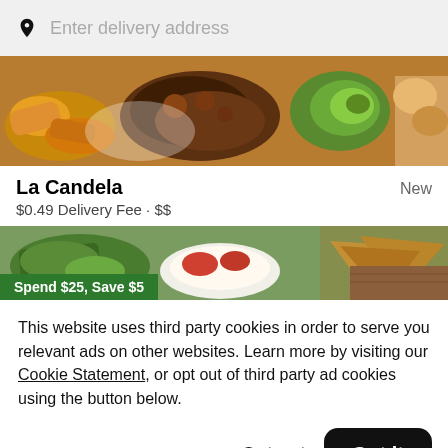Enter delivery address
[Figure (photo): Food spread photo showing plantains, rice, meat, avocado, and other dishes]
La Candela
New
$0.49 Delivery Fee • $$
[Figure (photo): Food photo with green banner overlay reading Spend $25, Save $5]
This website uses third party cookies in order to serve you relevant ads on other websites. Learn more by visiting our Cookie Statement, or opt out of third party ad cookies using the button below.
Opt out
Got it